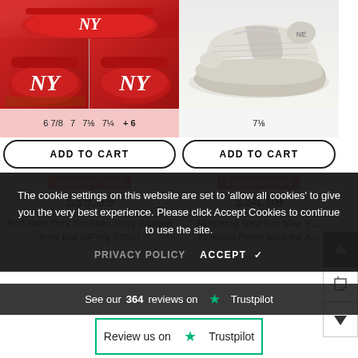[Figure (photo): Left product: Red New York Yankees fitted hat product images - top banner image of red cap, then two thumbnail images showing NY logo on red fitted caps]
6 7/8  7  7⅛  7¼  + 6
ADD TO CART
Exclusive Fitted
$39.99
Red New York Yankees Gray Bottom New Era 59Fifty Fitted
[Figure (photo): Right product: Adidas Yeezy Boost 350 V2 sneaker in light gray/cream colorway, shown from side angle]
7⅛
ADD TO CART
Exclusive Fitted
$34.99
Matching New Era New York Yankees Fitted hats for A
The cookie settings on this website are set to 'allow all cookies' to give you the very best experience. Please click Accept Cookies to continue to use the site.
PRIVACY POLICY   ACCEPT ✓
See our 364 reviews on ★ Trustpilot
Review us on ★ Trustpilot